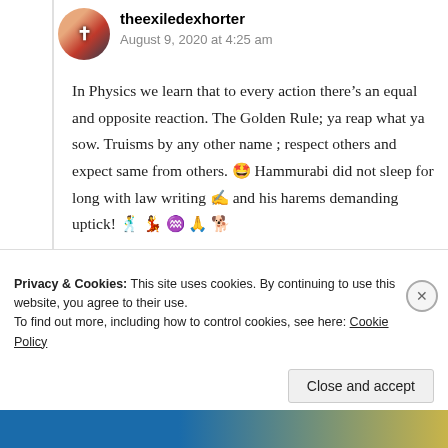theexiledexhorter
August 9, 2020 at 4:25 am
In Physics we learn that to every action there’s an equal and opposite reaction. The Golden Rule; ya reap what ya sow. Truisms by any other name ; respect others and expect same from others. 🤩 Hammurabi did not sleep for long with law writing ✍️ and his harems demanding uptick! 🕺 💃 ♒ 🙏 🐕
★ Liked by 1 person
Privacy & Cookies: This site uses cookies. By continuing to use this website, you agree to their use.
To find out more, including how to control cookies, see here: Cookie Policy
Close and accept